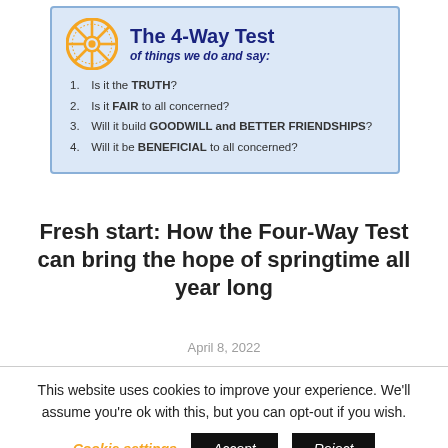[Figure (infographic): Rotary International 4-Way Test infographic box with Rotary wheel logo, title 'The 4-Way Test of things we do and say:', and four numbered items about truth, fairness, goodwill, and benefit.]
Fresh start: How the Four-Way Test can bring the hope of springtime all year long
April 8, 2022
This website uses cookies to improve your experience. We'll assume you're ok with this, but you can opt-out if you wish.
Cookie settings   Accept   Reject